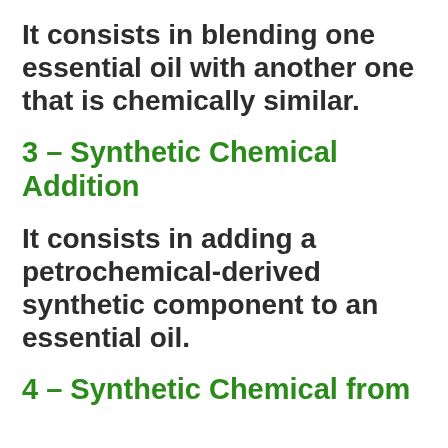It consists in blending one essential oil with another one that is chemically similar.
3 – Synthetic Chemical Addition
It consists in adding a petrochemical-derived synthetic component to an essential oil.
4 – Synthetic Chemical from